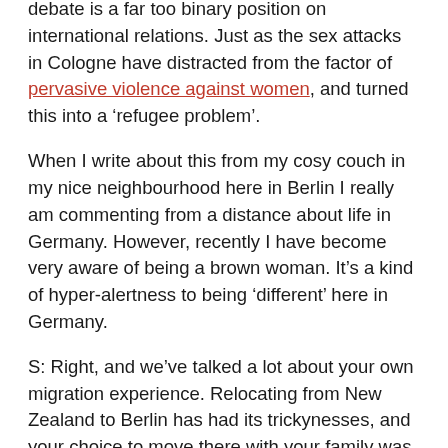debate is a far too binary position on international relations. Just as the sex attacks in Cologne have distracted from the factor of pervasive violence against women, and turned this into a 'refugee problem'.
When I write about this from my cosy couch in my nice neighbourhood here in Berlin I really am commenting from a distance about life in Germany. However, recently I have become very aware of being a brown woman. It's a kind of hyper-alertness to being 'different' here in Germany.
S: Right, and we've talked a lot about your own migration experience. Relocating from New Zealand to Berlin has had its trickynesses, and your choice to move there with your family was motivated more by a desire to explore, try something new – rather than to escape civil war, for example. Returning to the sex attacks, have you felt unsafe personally in Berlin, or is it more of a general sense that tensions are rising in many forms?